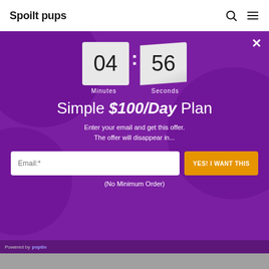Spoilt pups
[Figure (screenshot): Modal popup with purple background showing a countdown timer (04 minutes : 56 seconds), a promotional offer headline 'Simple $100/Day Plan', email capture form with a YES! I WANT THIS button, and 'Powered by poptin' footer]
Simple $100/Day Plan
Enter your email and get this offer. The offer will disappear in...
(No Minimum Order)
Powered by poptin